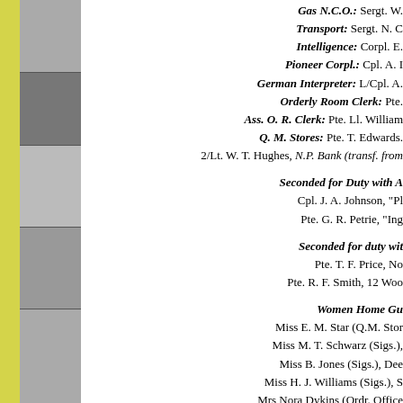Gas N.C.O.: Sergt. W.
Transport: Sergt. N. C
Intelligence: Corpl. E.
Pioneer Corpl.: Cpl. A. I
German Interpreter: L/Cpl. A.
Orderly Room Clerk: Pte.
Ass. O. R. Clerk: Pte. Ll. William
Q. M. Stores: Pte. T. Edwards.
2/Lt. W. T. Hughes, N.P. Bank (transf. from
Seconded for Duty with A
Cpl. J. A. Johnson, "Pl
Pte. G. R. Petrie, "Ing
Seconded for duty wit
Pte. T. F. Price, No
Pte. R. F. Smith, 12 Woo
Women Home Gu
Miss E. M. Star (Q.M. Stor
Miss M. T. Schwarz (Sigs.),
Miss B. Jones (Sigs.), Dee
Miss H. J. Williams (Sigs.), S
Mrs Nora Dykins (Ordr. Office
**********